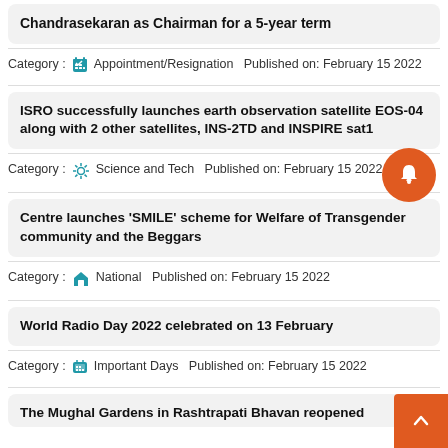Chandrasekaran as Chairman for a 5-year term
Category : Appointment/Resignation   Published on: February 15 2022
ISRO successfully launches earth observation satellite EOS-04 along with 2 other satellites, INS-2TD and INSPIRE sat1
Category : Science and Tech   Published on: February 15 2022
Centre launches ‘SMILE’ scheme for Welfare of Transgender community and the Beggars
Category : National   Published on: February 15 2022
World Radio Day 2022 celebrated on 13 February
Category : Important Days   Published on: February 15 2022
The Mughal Gardens in Rashtrapati Bhavan reopened